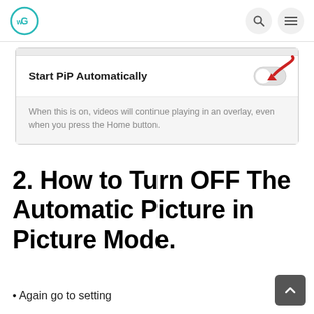WG logo with search and menu icons
[Figure (screenshot): Android settings screenshot showing 'Start PiP Automatically' toggle (off) with a red arrow pointing to the toggle. Description text reads: 'When this is on, videos will continue playing in an overlay, even when you press the Home button.']
2. How to Turn OFF The Automatic Picture in Picture Mode.
Again go to setting